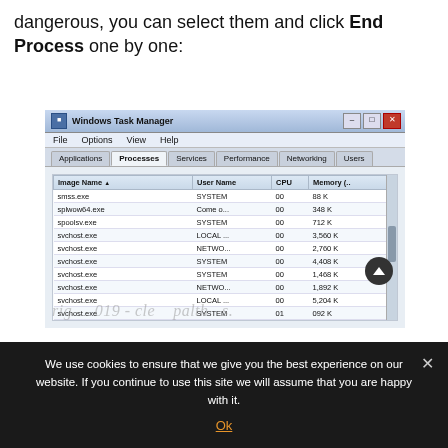dangerous, you can select them and click End Process one by one:
[Figure (screenshot): Windows Task Manager screenshot showing Processes tab with columns Image Name, User Name, CPU, Memory. Rows include smss.exe, splwow64.exe, spoolsv.exe, and multiple svchost.exe entries with SYSTEM, LOCAL..., NETWO..., Come o... user names and various CPU and memory values.]
We use cookies to ensure that we give you the best experience on our website. If you continue to use this site we will assume that you are happy with it.
Ok